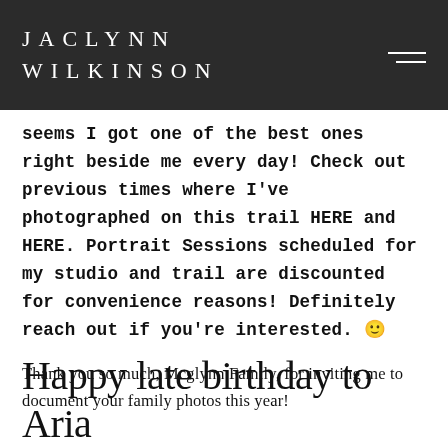JACLYNN WILKINSON
seems I got one of the best ones right beside me every day! Check out previous times where I've photographed on this trail HERE and HERE. Portrait Sessions scheduled for my studio and trail are discounted for convenience reasons! Definitely reach out if you're interested. 🙂
Thank you so much, Mcglynn Family, for inviting me to document your family photos this year!
Happy late birthday to Aria